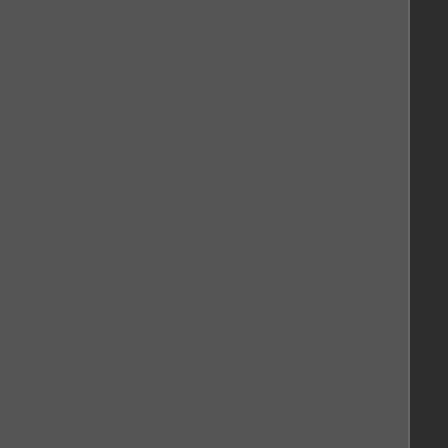14092 14093 14094 14095 14096 14097 14098 14099 14100 14101 14102 14103 14104 14105 14106 14107 14108 14109 14110 14111 14112 14113 14114 14115 14116 14117 14118 14119 14120 14121 14122 14123 14124 14125 14126 14127 14128 14129 14130 14131 14132 14133 14134 14135 14136 14137 14138 14139 14140 14141 14142 14143 14144 14145 14146 14147 14148 14149 14150 14151 14152 14153 14154 14155 14156 14157 14158 14159 14160 14161 14162 14163 14164 14165 14166 14167 14168 14169 14170 14171 14172 14173 14174 14175 14176 14177 14178 14179 14180 14181 14182 14183 14184 14185 14186 14187 14188 14189 14190 14191 14192 14193 14194 14195 14196 14197 14198 14199 14200 14201 14202 14203 14204 14205 14206 14207 14208 14209 14210 14211 14212 14213 14214 14215 14216 14217 14218 14219 14220 14221 14222 14223 14224 14225 14226 14227 14228 14229 14230 14231 14232 14233 14234 14235 14236 14237 14238 14239 14240 14241 14242 14243 14244 14245 14246 14247 14248 14249 14250 14251 14252 14253 14254 14255 14256 14257 14258 14259 14260 14261 14262 14263 14264 14265 14266 14267 14268 14269 14270 14271 14272 14273 14274 14275 14276 14277 14278 14279 14280 14281 14282 14283 14284 14285 14286 14287 14288 14289 14290 14291 14292 14293 14294 14295 14296 14297 14298 14299 14300 14301 14302 14303 14304 14305 14306 14307 14308 14309 14310 14311 14312 14313 14314 14315 14316 14317 14318 14319 14320 14321 14322 14323 14324 14325 14326 14327 14328 14329 14330 14331 14332 14333 14334 14335 14336 14337 14338 14339 14340 14341 14342 14343 14344 14345 14346 14347 14348 14349 14350 14351 14352 14353 14354 14355 14356 14357 14358 14359 14360 14361 14362 14363 14364 14365 14366 14367 14368 14369 14370 14371 14372 14373 14374 14375 14376 14377 14378 14379 14380 14381 14382 14383 14384 14385 14386 14387 14388 14389 14390 14391 14392 14393 14394 14395 14396 14397 14398 14399 14400 14401 14402 14403 14404 14405 14406 14407 14408 14409 14410 14411 14412 14413 14414 14415 14416 14417 14418 14419 14420 14421 14422 14423 14424 14425 14426 14427 14428 14429 14430 14431 14432 14433 14434 14435 14436 14437 14438 14439 14440 14441 14442 14443 14444 14445 14446 14447 14448 14449 14450 14451 14452 14453 14454 14455 14456 14457 14458 14459 14460 14461 14462 14463 14464 14465 14466 14467